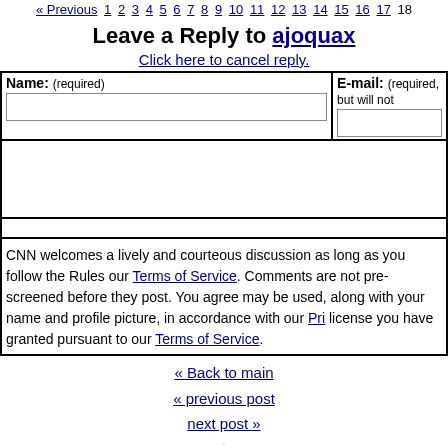« Previous 1 2 3 4 5 6 7 8 9 10 11 12 13 14 15 16 17 18
Leave a Reply to ajoquax
Click here to cancel reply.
| Name: (required) | E-mail: (required, but will not …) |
| --- | --- |
|  |  |
CNN welcomes a lively and courteous discussion as long as you follow the Rules our Terms of Service. Comments are not pre-screened before they post. You agree may be used, along with your name and profile picture, in accordance with our Pri license you have granted pursuant to our Terms of Service.
« Back to main
« previous post
next post »
About "Reliable Sources"